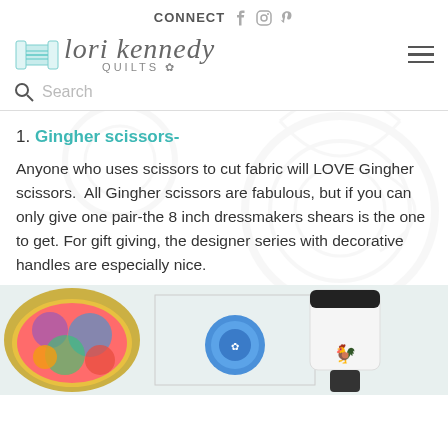CONNECT
[Figure (logo): Lori Kennedy Quilts logo with thread spool icon and script text]
Search
1. Gingher scissors-
Anyone who uses scissors to cut fabric will LOVE Gingher scissors. All Gingher scissors are fabulous, but if you can only give one pair-the 8 inch dressmakers shears is the one to get. For gift giving, the designer series with decorative handles are especially nice.
[Figure (photo): Bottom photo strip showing colorful quilted pouch, decorative tin, and scissors/rolling tool on white background]